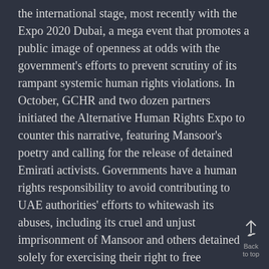the international stage, most recently with the Expo 2020 Dubai, a mega event that promotes a public image of openness at odds with the government's efforts to prevent scrutiny of its rampant systemic human rights violations. In October, GCHR and two dozen partners initiated the Alternative Human Rights Expo to counter this narrative, featuring Mansoor's poetry and calling for the release of detained Emirati activists. Governments have a human rights responsibility to avoid contributing to UAE authorities' efforts to whitewash its abuses, including its cruel and unjust imprisonment of Mansoor and others detained solely for exercising their right to free expression. As countries showcase their pavilions at the Dubai Expo, they should